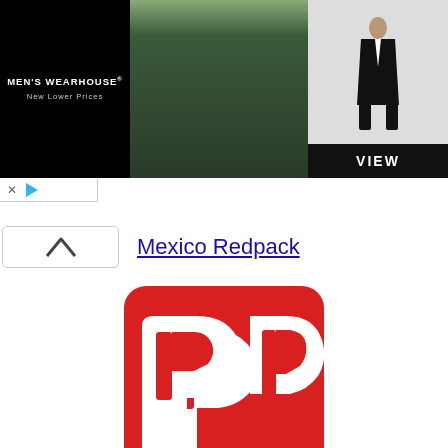[Figure (screenshot): Men's Wearhouse advertisement banner with couple in formal wear and VIEW button]
[Figure (logo): Japan Post logo - red rounded square with white JP stylized mark]
Mexico Redpack
Japan Post
[Figure (logo): Sagawa logo - dark blue rounded square with white SAGAWA text]
Sagawa
[Figure (logo): Teal/green rounded square logo partially visible at bottom]